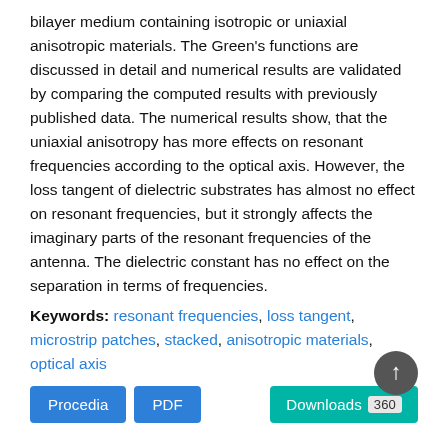bilayer medium containing isotropic or uniaxial anisotropic materials. The Green's functions are discussed in detail and numerical results are validated by comparing the computed results with previously published data. The numerical results show, that the uniaxial anisotropy has more effects on resonant frequencies according to the optical axis. However, the loss tangent of dielectric substrates has almost no effect on resonant frequencies, but it strongly affects the imaginary parts of the resonant frequencies of the antenna. The dielectric constant has no effect on the separation in terms of frequencies.
Keywords: resonant frequencies, loss tangent, microstrip patches, stacked, anisotropic materials, optical axis
[Figure (other): Two blue buttons labeled 'Procedia' and 'PDF', a teal 'Downloads 360' button, and a dark circular up-arrow icon]